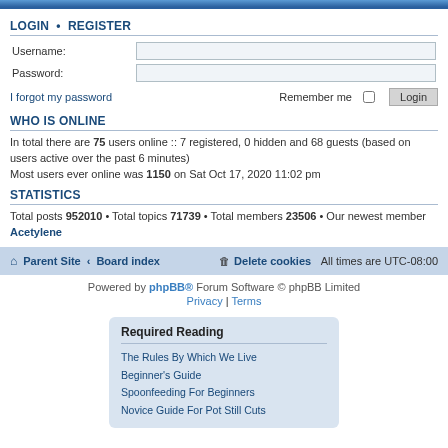LOGIN · REGISTER
Username:
Password:
I forgot my password   Remember me  Login
WHO IS ONLINE
In total there are 75 users online :: 7 registered, 0 hidden and 68 guests (based on users active over the past 6 minutes)
Most users ever online was 1150 on Sat Oct 17, 2020 11:02 pm
STATISTICS
Total posts 952010 • Total topics 71739 • Total members 23506 • Our newest member Acetylene
Parent Site · Board index    Delete cookies  All times are UTC-08:00
Powered by phpBB® Forum Software © phpBB Limited
Privacy | Terms
Required Reading
The Rules By Which We Live
Beginner's Guide
Spoonfeeding For Beginners
Novice Guide For Pot Still Cuts